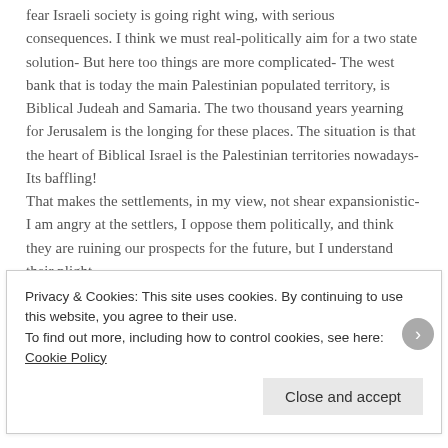fear Israeli society is going right wing, with serious consequences. I think we must real-politically aim for a two state solution- But here too things are more complicated- The west bank that is today the main Palestinian populated territory, is Biblical Judeah and Samaria. The two thousand years yearning for Jerusalem is the longing for these places. The situation is that the heart of Biblical Israel is the Palestinian territories nowadays- Its baffling!
That makes the settlements, in my view, not shear expansionistic- I am angry at the settlers, I oppose them politically, and think they are ruining our prospects for the future, but I understand their plight.
And so, Irwin, I wish for a more complex view where good and evil are less clear, because by god, they are
Privacy & Cookies: This site uses cookies. By continuing to use this website, you agree to their use.
To find out more, including how to control cookies, see here: Cookie Policy
Close and accept